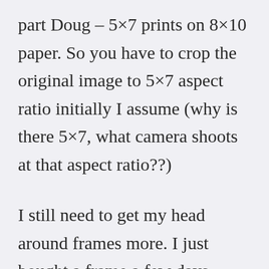part Doug – 5×7 prints on 8×10 paper. So you have to crop the original image to 5×7 aspect ratio initially I assume (why is there 5×7, what camera shoots at that aspect ratio??)
I still need to get my head around frames more. I just bought a frame a few days